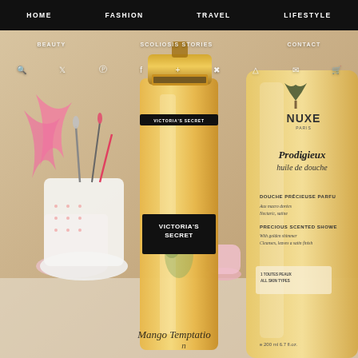HOME   FASHION   TRAVEL   LIFESTYLE
BEAUTY   SCOLIOSIS STORIES   CONTACT
[Figure (photo): Beauty blog photo showing a Victoria's Secret Mango Temptation fragrance mist bottle in amber/gold color with black label and gold cap, alongside a Nuxe Paris Prodigieux huile de douche (shower oil) tube in gold/cream color. Background includes a white decorative pot with makeup brushes and pink feathers, and a pink ceramic pot. The scene is styled on a white surface.]